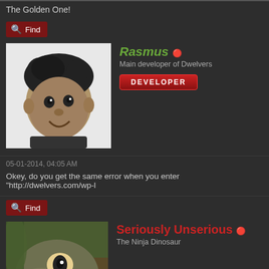The Golden One!
Find
[Figure (illustration): Avatar of Rasmus - a cartoon/caricature style illustration of a person with dark features on white background]
Rasmus
Main developer of Dwelvers
DEVELOPER
05-01-2014, 04:05 AM
Okey, do you get the same error when you enter "http://dwelvers.com/wp-l
Find
[Figure (photo): Avatar of Seriously Unserious - a photo or realistic illustration of a raptor/dinosaur face]
Seriously Unserious
The Ninja Dinosaur
05-01-2014, 04:19 AM